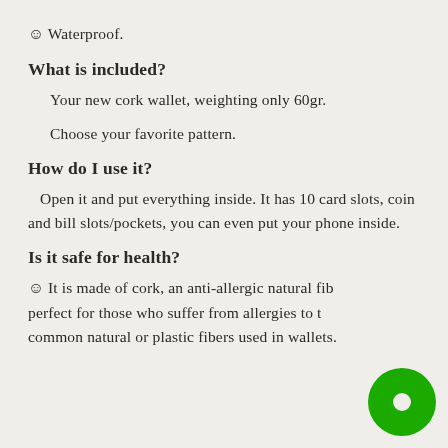☺ Waterproof.
What is included?
Your new cork wallet, weighting only 60gr.
Choose your favorite pattern.
How do I use it?
Open it and put everything inside. It has 10 card slots, coin and bill slots/pockets, you can even put your phone inside.
Is it safe for health?
☺ It is made of cork, an anti-allergic natural fiber, perfect for those who suffer from allergies to the common natural or plastic fibers used in wallets.